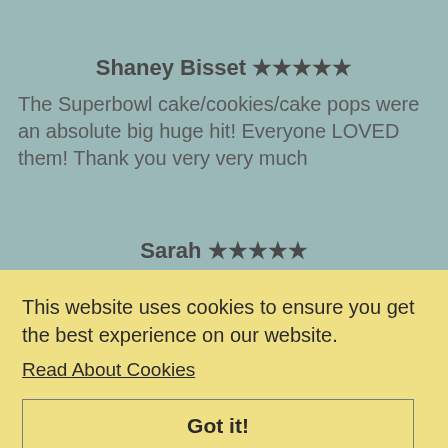Shaney Bisset ★★★★★
The Superbowl cake/cookies/cake pops were an absolute big huge hit! Everyone LOVED them! Thank you very very much
Sarah ★★★★★
Another masterpiece, you made our little girl just so happy! We are huge fans of your work!
This website uses cookies to ensure you get the best experience on our website.
Read About Cookies
Got it!